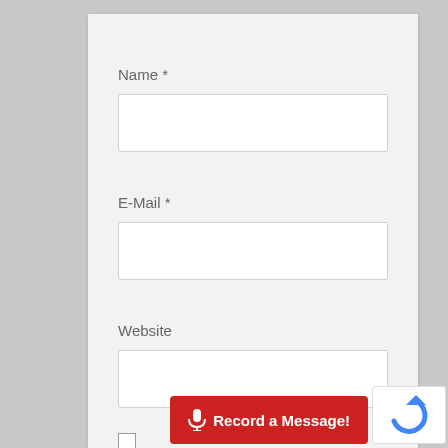Name *
[Figure (screenshot): Empty text input field for Name]
E-Mail *
[Figure (screenshot): Empty text input field for E-Mail]
Website
[Figure (screenshot): Empty text input field for Website]
[Figure (screenshot): Unchecked checkbox]
Save my name, email, and
website in this b…
[Figure (screenshot): Red 'Record a Message!' button with microphone icon]
[Figure (logo): reCAPTCHA badge partially visible]